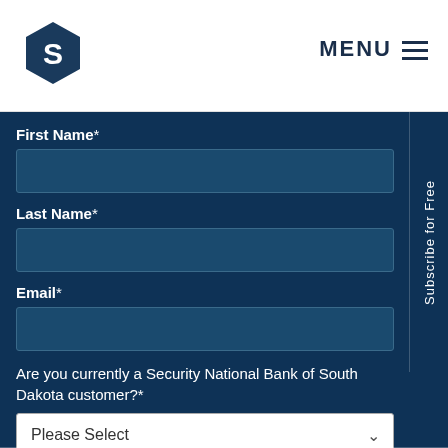[Figure (logo): Security National Bank hexagon logo with S letter]
MENU ☰
First Name*
Last Name*
Email*
Are you currently a Security National Bank of South Dakota customer?*
Please Select
SUBSCRIBE
Subscribe for Free